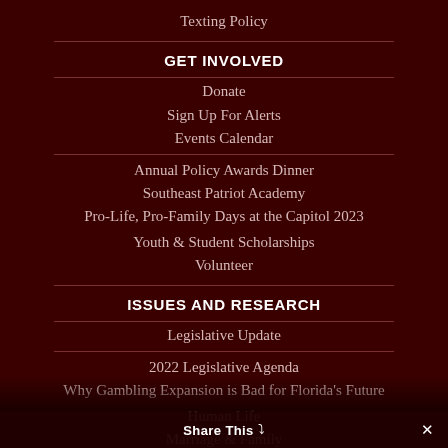Texting Policy
GET INVOLVED
Donate
Sign Up For Alerts
Events Calendar
Annual Policy Awards Dinner
Southeast Patriot Academy
Pro-Life, Pro-Family Days at the Capitol 2023
Youth & Student Scholarships
Volunteer
ISSUES AND RESEARCH
Legislative Update
2022 Legislative Agenda
Why Gambling Expansion is Bad for Florida's Future
Human Life
Marriage & Family
Share This